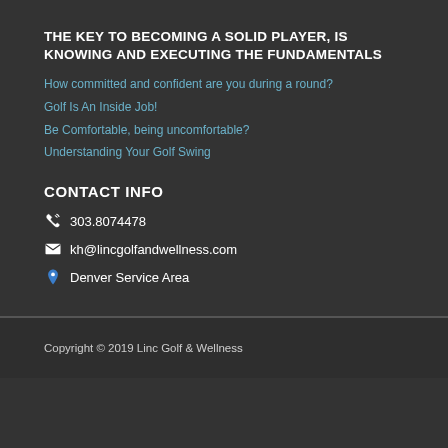THE KEY TO BECOMING A SOLID PLAYER, IS KNOWING AND EXECUTING THE FUNDAMENTALS
How committed and confident are you during a round?
Golf Is An Inside Job!
Be Comfortable, being uncomfortable?
Understanding Your Golf Swing
CONTACT INFO
303.8074478
kh@lincgolfandwellness.com
Denver Service Area
Copyright © 2019 Linc Golf & Wellness